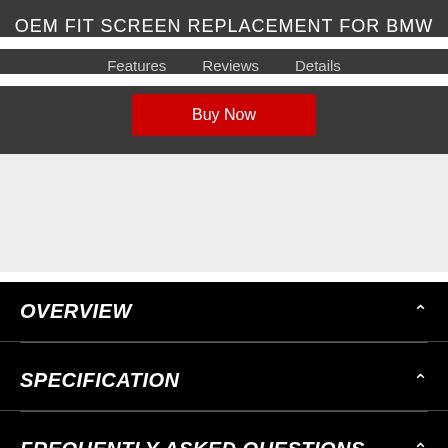OEM FIT SCREEN REPLACEMENT FOR BMW
Features   Reviews   Details
Buy Now
[Figure (photo): Product image area - light gray background, product not fully visible]
OVERVIEW
SPECIFICATION
FREQUENTLY ASKED QUESTIONS